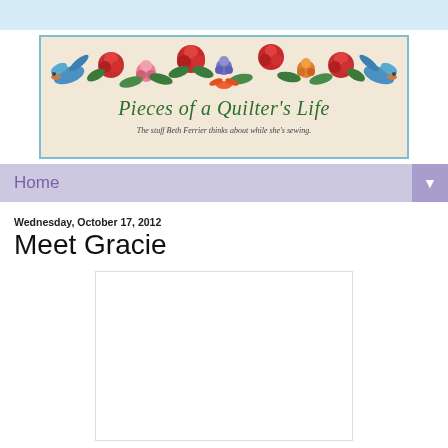[Figure (illustration): Blog banner for 'Pieces of a Quilter's Life' with floral and bird decorations, subtitle: The stuff Beth Ferrier thinks about while she's sewing.]
Home
Wednesday, October 17, 2012
Meet Gracie
[Figure (photo): Blank/loading photo placeholder]